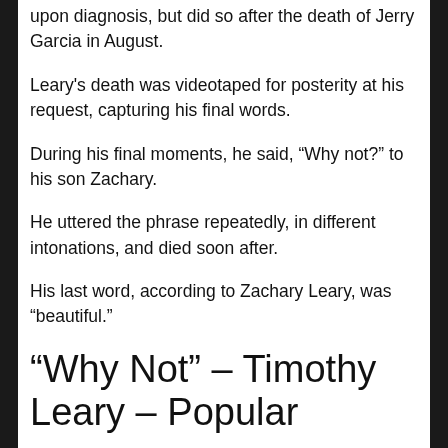upon diagnosis, but did so after the death of Jerry Garcia in August.
Leary's death was videotaped for posterity at his request, capturing his final words.
During his final moments, he said, “Why not?” to his son Zachary.
He uttered the phrase repeatedly, in different intonations, and died soon after.
His last word, according to Zachary Leary, was “beautiful.”
“Why Not” – Timothy Leary – Popular